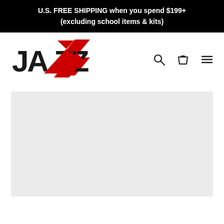U.S. FREE SHIPPING when you spend $199+ (excluding school items & kits)
[Figure (logo): JAZZ dance/music brand logo with black bold text JAZZ and red lightning bolt Z shapes]
[Figure (other): Navigation icons: search magnifying glass, shopping bag, hamburger menu]
[Figure (other): Light gray content placeholder area]